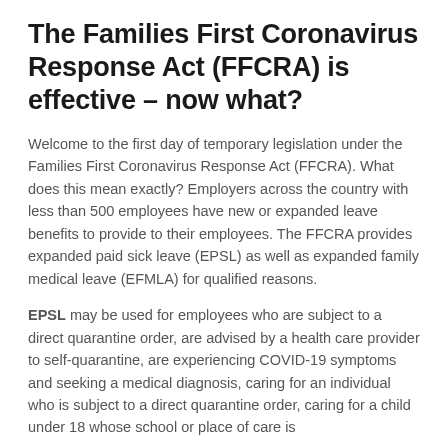The Families First Coronavirus Response Act (FFCRA) is effective – now what?
Welcome to the first day of temporary legislation under the Families First Coronavirus Response Act (FFCRA). What does this mean exactly? Employers across the country with less than 500 employees have new or expanded leave benefits to provide to their employees. The FFCRA provides expanded paid sick leave (EPSL) as well as expanded family medical leave (EFMLA) for qualified reasons.
EPSL may be used for employees who are subject to a direct quarantine order, are advised by a health care provider to self-quarantine, are experiencing COVID-19 symptoms and seeking a medical diagnosis, caring for an individual who is subject to a direct quarantine order, caring for a child under 18 whose school or place of care is